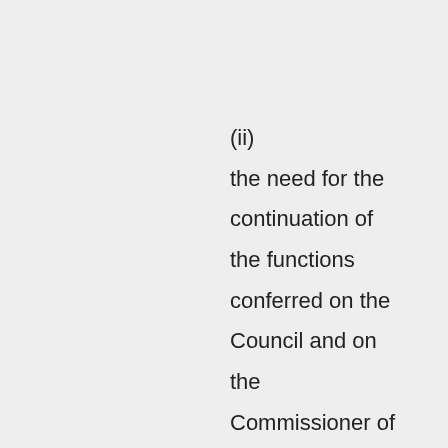(ii) the need for the continuation of the functions conferred on the Council and on the Commissioner of Health respectively by the Act;